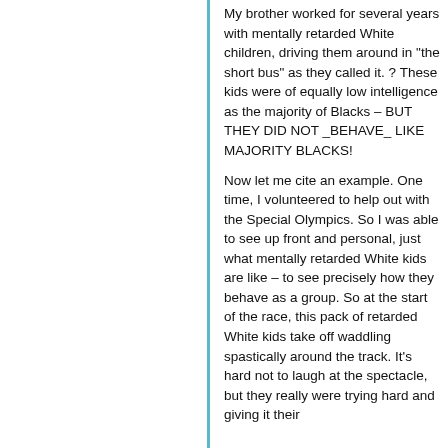My brother worked for several years with mentally retarded White children, driving them around in "the short bus" as they called it. ? These kids were of equally low intelligence as the majority of Blacks – BUT THEY DID NOT _BEHAVE_ LIKE MAJORITY BLACKS!
Now let me cite an example. One time, I volunteered to help out with the Special Olympics. So I was able to see up front and personal, just what mentally retarded White kids are like – to see precisely how they behave as a group. So at the start of the race, this pack of retarded White kids take off waddling spastically around the track. It's hard not to laugh at the spectacle, but they really were trying hard and giving it their all — to each other they would Th...